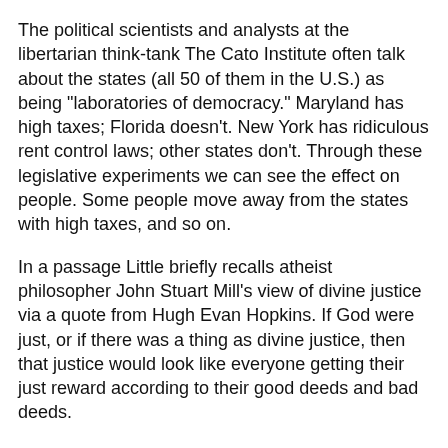The political scientists and analysts at the libertarian think-tank The Cato Institute often talk about the states (all 50 of them in the U.S.) as being "laboratories of democracy." Maryland has high taxes; Florida doesn't. New York has ridiculous rent control laws; other states don't. Through these legislative experiments we can see the effect on people. Some people move away from the states with high taxes, and so on.
In a passage Little briefly recalls atheist philosopher John Stuart Mill's view of divine justice via a quote from Hugh Evan Hopkins. If God were just, or if there was a thing as divine justice, then that justice would look like everyone getting their just reward according to their good deeds and bad deeds.
Little then says the most interesting thing to me in the book: "To see the logical consequences of Mill's "exact reward" concept of God in his dealings with man, we need only turn to Hinduism."
And by turning to Hinduism, and the lands affected by